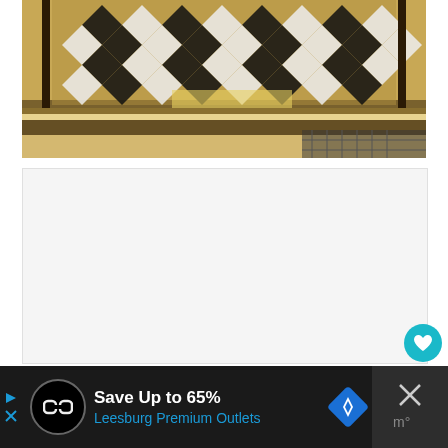[Figure (photo): Photograph of an ornate marble floor with a decorative checkerboard and diamond pattern inlay in black, white, and gold tones, viewed from above at an angle.]
[Figure (screenshot): White/light gray empty content area with two floating action buttons on the right side: a teal heart/favorite button and a white share button.]
Save Up to 65%
Leesburg Premium Outlets